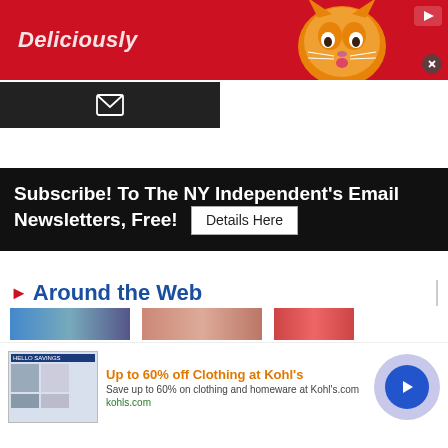[Figure (photo): Red advertisement banner with orange cat licking lips and text 'Deliciously' in white italic font. Play button icon top right, close button bottom right.]
[Figure (screenshot): Dark/black email subscription bar with white envelope icon, approximately half page width.]
Subscribe! To The NY Independent's Email Newsletters, Free! Details Here
Around the Web
[Figure (screenshot): Row of three small thumbnail images partially visible at the bottom of the page.]
[Figure (screenshot): Bottom advertisement banner: 'Up to 60% off Clothing at Kohl's' with product screenshot thumbnail, description text and kohls.com link, close button, and blue arrow navigation circle.]